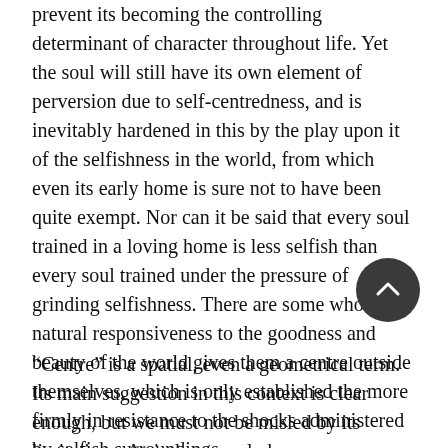prevent its becoming the controlling determinant of character throughout life. Yet the soul will still have its own element of perversion due to self-centredness, and is inevitably hardened in this by the play upon it of the selfishness in the world, from which even its early home is sure not to have been quite exempt. Nor can it be said that every soul trained in a loving home is less selfish than every soul trained under the pressure of grinding selfishness. There are some whose natural responsiveness to the goodness and beauty of the world gives them a centre outside themselves, which is only established the more firmly in resistance to the shocks administered by selfish surroundings.
“Centre” is a spatial, even a geometrical term. Its main suggestion in this context is clear enough, but we must not be misled by its limitations. A circle can only have